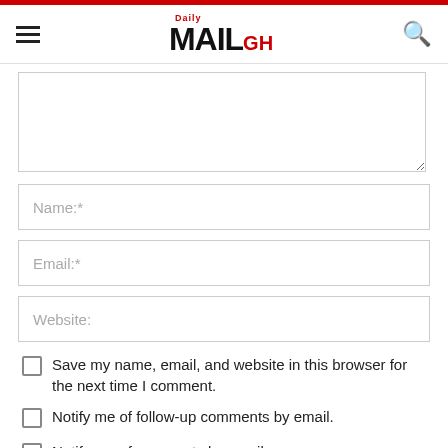Daily MAIL GH
[Figure (screenshot): Text area input field (comment box), partially visible, with resize handle at bottom right]
Name:*
Email:*
Website:
Save my name, email, and website in this browser for the next time I comment.
Notify me of follow-up comments by email.
Notify me of new posts by email.